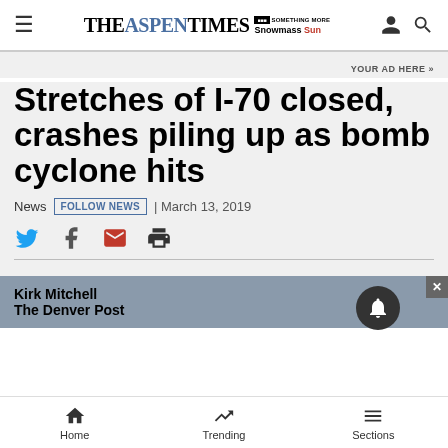THE ASPEN TIMES | Snowmass Sun
YOUR AD HERE »
Stretches of I-70 closed, crashes piling up as bomb cyclone hits
News  FOLLOW NEWS  | March 13, 2019
Kirk Mitchell
The Denver Post
Home  Trending  Sections